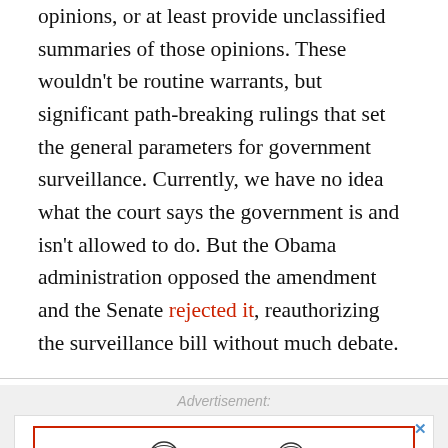opinions, or at least provide unclassified summaries of those opinions. These wouldn't be routine warrants, but significant path-breaking rulings that set the general parameters for government surveillance. Currently, we have no idea what the court says the government is and isn't allowed to do. But the Obama administration opposed the amendment and the Senate rejected it, reauthorizing the surveillance bill without much debate.
[Figure (other): Advertisement section with a gray background, showing an ad label in italic gray text reading 'Advertisement:' and below it an advertisement box with a red border containing two illustrated figures in red robes/togas facing each other.]